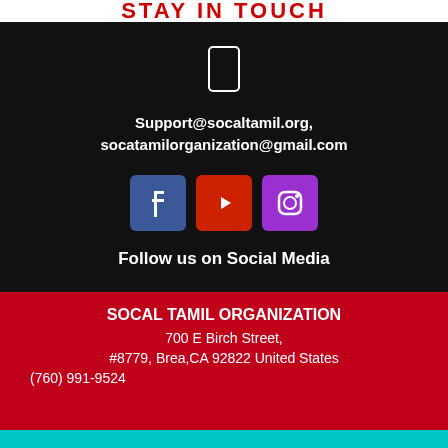STAY IN TOUCH
[Figure (illustration): Phone/mobile icon outline in white on black background]
Support@socaltamil.org, socatamilorganization@gmail.com
[Figure (illustration): Three social media icons: Facebook (blue), YouTube (red), Instagram (purple)]
Follow us on Social Media
SOCAL TAMIL ORGANIZATION
700 E Birch Street,
#8779, Brea,CA 92822 United States
(760) 991-9524